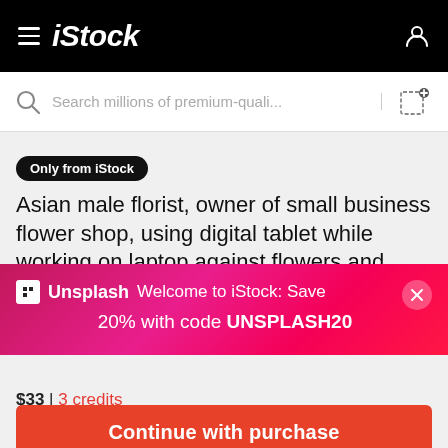iStock
Search millions of premium-quali...
Only from iStock  Asian male florist, owner of small business flower shop, using digital tablet while working on laptop against flowers and
[Figure (screenshot): Unsplash promotional banner overlay: Welcome to iStock: Save 20% with code UNSPLASH20]
$33 | 3 credits
Continue with purchase